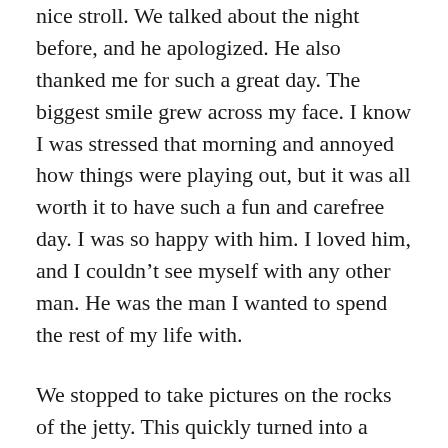nice stroll. We talked about the night before, and he apologized. He also thanked me for such a great day. The biggest smile grew across my face. I know I was stressed that morning and annoyed how things were playing out, but it was all worth it to have such a fun and carefree day. I was so happy with him. I loved him, and I couldn't see myself with any other man. He was the man I wanted to spend the rest of my life with.
We stopped to take pictures on the rocks of the jetty. This quickly turned into a typical CK photo shoot, which I'm not the most thrilled with. I'm not a fan of having my picture taken because 99% of the time, I hate the results. I don't like being in the spotlight, but CK does. When I take the pictures of him, I know these pictures will be sorted through as fodder for his Instagram feed. This is yet another account of my attention not being enough. He still